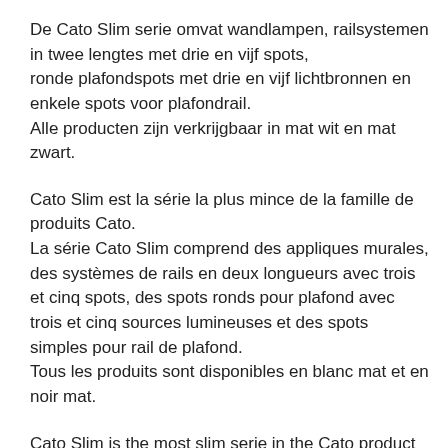De Cato Slim serie omvat wandlampen, railsystemen in twee lengtes met drie en vijf spots,
ronde plafondspots met drie en vijf lichtbronnen en enkele spots voor plafondrail.
Alle producten zijn verkrijgbaar in mat wit en mat zwart.
Cato Slim est la série la plus mince de la famille de produits Cato.
La série Cato Slim comprend des appliques murales, des systèmes de rails en deux longueurs avec trois et cinq spots, des spots ronds pour plafond avec trois et cinq sources lumineuses et des spots simples pour rail de plafond.
Tous les produits sont disponibles en blanc mat et en noir mat.
Cato Slim is the most slim serie in the Cato product family.
The Cato Slim serie includes wall lamp, track systems in two lengths with three and five spotlights,
round ceiling spotlights with three and five light sources and single spotlights for ceiling track.